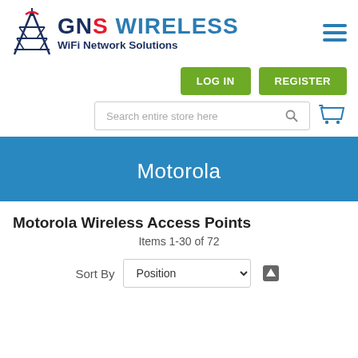[Figure (logo): GNS Wireless WiFi Network Solutions logo with tower graphic]
[Figure (other): Hamburger menu icon (three horizontal blue lines)]
[Figure (other): LOG IN and REGISTER green buttons]
[Figure (other): Search bar with magnifying glass icon and shopping cart icon]
Motorola
Motorola Wireless Access Points
Items 1-30 of 72
Sort By  Position